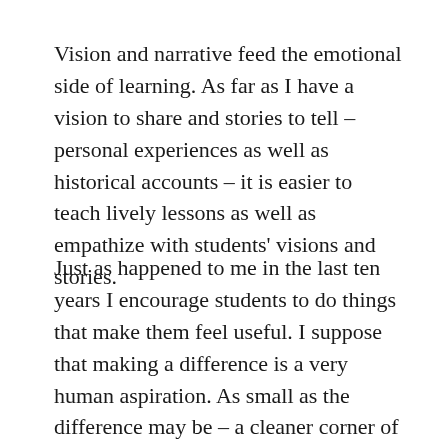Vision and narrative feed the emotional side of learning. As far as I have a vision to share and stories to tell – personal experiences as well as historical accounts – it is easier to teach lively lessons as well as empathize with students' visions and stories.
Just as happened to me in the last ten years I encourage students to do things that make them feel useful. I suppose that making a difference is a very human aspiration. As small as the difference may be – a cleaner corner of the world, a step forward in community building, fighting